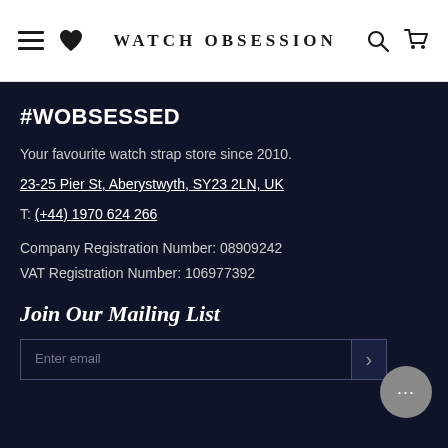WATCH OBSESSION
#WOBSESSED
Your favourite watch strap store since 2010.
23-25 Pier St, Aberystwyth, SY23 2LN, UK
T: (+44) 1970 624 266
Company Registration Number: 08909242
VAT Registration Number: 106977392
Join Our Mailing List
Enter email